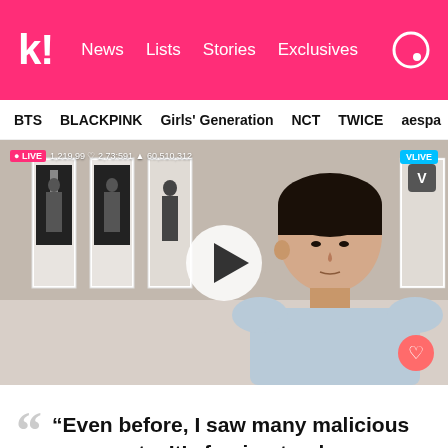k! News Lists Stories Exclusives
BTS BLACKPINK Girls' Generation NCT TWICE aespa
[Figure (screenshot): Video player screenshot showing a young man in a light blue sweatshirt sitting in front of a wall with black and white photos/posters. Overlaid with a play button, LIVE badge, viewer count stats, and VLIVE badge in top right corner. Heart share icon in bottom right.]
“Even before, I saw many malicious comments. It’s freeing to play games, but…”